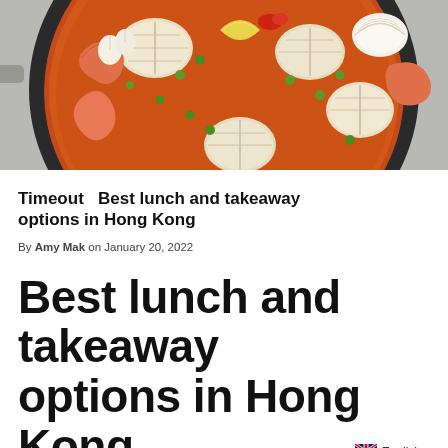[Figure (photo): Overhead view of a large dark pan containing seafood paella with clams, shrimp, peas, lemon wedges, and onions on a gray background]
Timeout   Best lunch and takeaway options in Hong Kong
By Amy Mak on January 20, 2022
Best lunch and takeaway options in Hong Kong